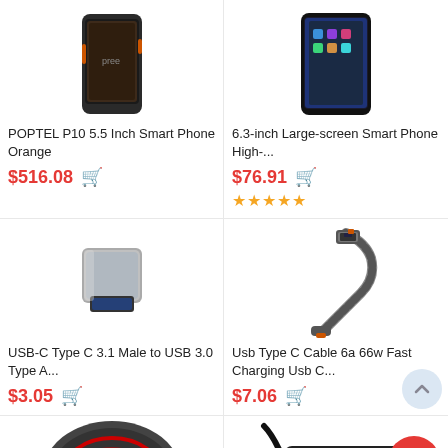[Figure (photo): POPTEL P10 5.5 Inch Smart Phone Orange - product photo]
POPTEL P10 5.5 Inch Smart Phone Orange
$516.08
[Figure (photo): 6.3-inch Large-screen Smart Phone High-... - product photo]
6.3-inch Large-screen Smart Phone High-...
$76.91
★★★★★
[Figure (photo): USB-C Type C 3.1 Male to USB 3.0 Type A adapter - product photo]
USB-C Type C 3.1 Male to USB 3.0 Type A...
$3.05
[Figure (photo): Usb Type C Cable 6a 66w Fast Charging Usb C... - product photo]
Usb Type C Cable 6a 66w Fast Charging Usb C...
$7.06
[Figure (photo): Wireless charger product - partial bottom view]
[Figure (photo): Cable product - partial bottom view with 18% OFF badge]